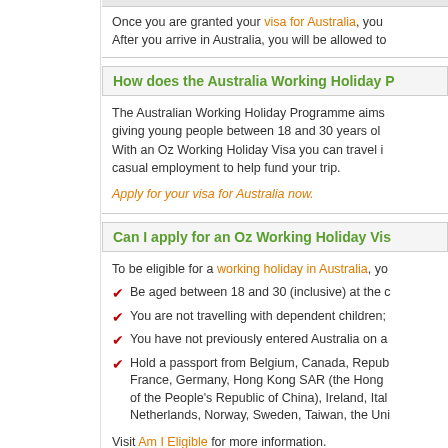Once you are granted your visa for Australia, you... After you arrive in Australia, you will be allowed to...
How does the Australia Working Holiday P...
The Australian Working Holiday Programme aims... giving young people between 18 and 30 years ol... With an Oz Working Holiday Visa you can travel... casual employment to help fund your trip.
Apply for your visa for Australia now.
Can I apply for an Oz Working Holiday Vis...
To be eligible for a working holiday in Australia, yo...
Be aged between 18 and 30 (inclusive) at the c...
You are not travelling with dependent children;
You have not previously entered Australia on a...
Hold a passport from Belgium, Canada, Repub... France, Germany, Hong Kong SAR (the Hong ... of the People's Republic of China), Ireland, Ital... Netherlands, Norway, Sweden, Taiwan, the Uni...
Visit Am I Eligible for more information.
If you have previously applied for, or attempted to... inform Visa First when submitting your applicatio...